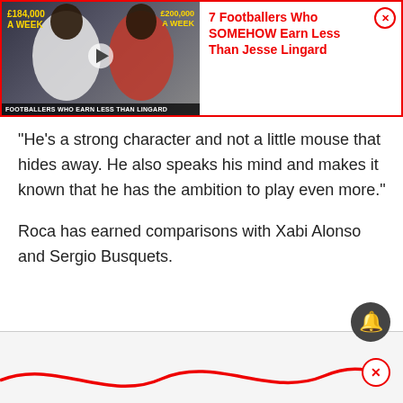[Figure (screenshot): Ad banner for '7 Footballers Who SOMEHOW Earn Less Than Jesse Lingard' showing a thumbnail with two footballers and salary text overlays, a play button, and caption 'Footballers Who Earn Less Than Lingard']
“He’s a strong character and not a little mouse that hides away. He also speaks his mind and makes it known that he has the ambition to play even more.”
Roca has earned comparisons with Xabi Alonso and Sergio Busquets.